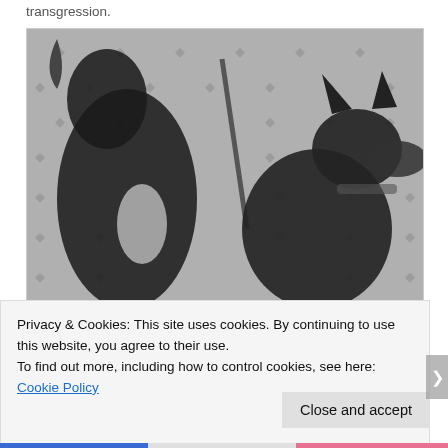transgression.
[Figure (photo): Black and white mosaic or textile image showing two dark animal figures (possibly dogs or mythological creatures) on a dotted/diamond-patterned grey background.]
Privacy & Cookies: This site uses cookies. By continuing to use this website, you agree to their use.
To find out more, including how to control cookies, see here: Cookie Policy
Close and accept